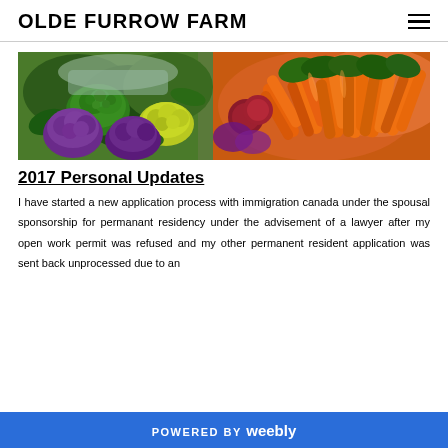OLDE FURROW FARM
[Figure (photo): A colorful display of fresh market vegetables including purple cauliflower, yellow cauliflower, green broccoli, and orange carrots spread across a market table.]
2017 Personal Updates
I have started a new application process with immigration canada under the spousal sponsorship for permanant residency under the advisement of a lawyer after my open work permit was refused and my other permanent resident application was sent back unprocessed due to an
POWERED BY weebly